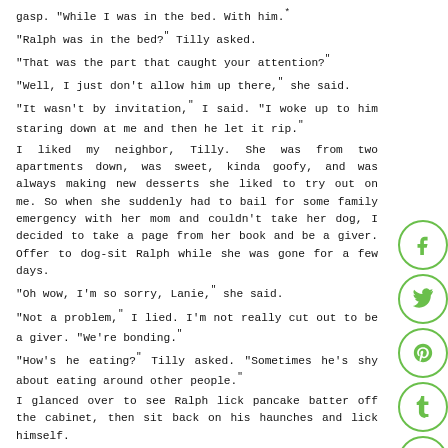gasp. "While I was in the bed. With him.*
"Ralph was in the bed?" Tilly asked.
"That was the part that caught your attention?"
"Well, I just don’t allow him up there," she said.
"It wasn’t by invitation," I said. "I woke up to him staring down at me and then he let it rip.*
I liked my neighbor, Tilly. She was from two apartments down, was sweet, kinda goofy, and was always making new desserts she liked to try out on me. So when she suddenly had to bail for some family emergency with her mom and couldn’t take her dog, I decided to take a page from her book and be a giver. Offer to dog-sit Ralph while she was gone for a few days.
"Oh wow, I’m so sorry, Lanie," she said.
"Not a problem," I lied. I’m not really cut out to be a giver. "We’re bonding.*
"How’s he eating?" Tilly asked. "Sometimes he’s shy about eating around other people.*
I glanced over to see Ralph lick pancake batter off the cabinet, then sit back on his haunches and lick himself.
"I think he’s doing all right.*
Tilly sighed on the other end. "Thank you so much for this," she said.
"It takes a load off my mind to know he’s taken care of.*